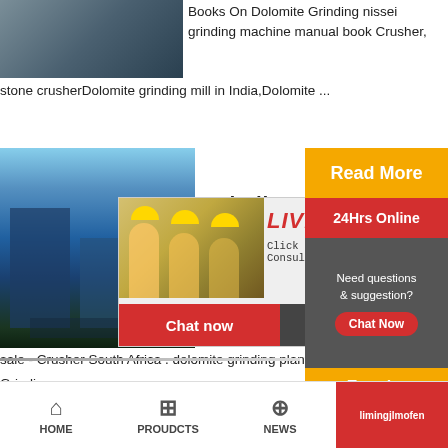[Figure (photo): Mining/industrial equipment photo in top-left corner]
Books On Dolomite Grinding nissei grinding machine manual book Crusher, stone crusherDolomite grinding mill in India,Dolomite ...
[Figure (photo): Industrial plant with blue equipment and machinery]
grinding
[Figure (screenshot): Live Chat popup with workers in hard hats. Title: LIVE CHAT. Subtitle: Click for a Free Consultation. Buttons: Chat now, Chat later]
[Figure (photo): Customer service operator with headset]
Read More
24Hrs Online
sale - Crusher South Africa . dolomite grinding plant Grinding ...
Need questions & suggestion?
Chat Now
Enquiry
limingjlmofen
HOME  PROUDCTS  NEWS  limingjlmofen